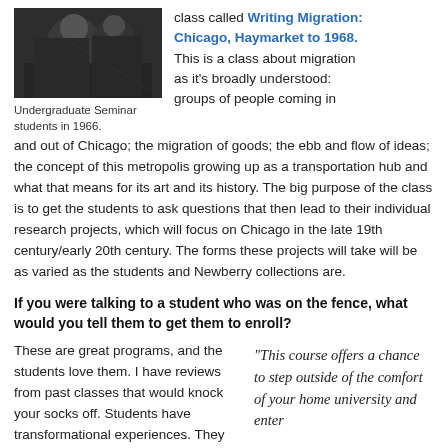[Figure (photo): Black and white photograph of Undergraduate Seminar students in 1966.]
Undergraduate Seminar students in 1966.
class called Writing Migration: Chicago, Haymarket to 1968. This is a class about migration as it's broadly understood: groups of people coming in and out of Chicago; the migration of goods; the ebb and flow of ideas; the concept of this metropolis growing up as a transportation hub and what that means for its art and its history. The big purpose of the class is to get the students to ask questions that then lead to their individual research projects, which will focus on Chicago in the late 19th century/early 20th century. The forms these projects will take will be as varied as the students and Newberry collections are.
If you were talking to a student who was on the fence, what would you tell them to get them to enroll?
These are great programs, and the students love them. I have reviews from past classes that would knock your socks off. Students have transformational experiences. They say this is the
“This course offers a chance to step outside of the comfort of your home university and enter